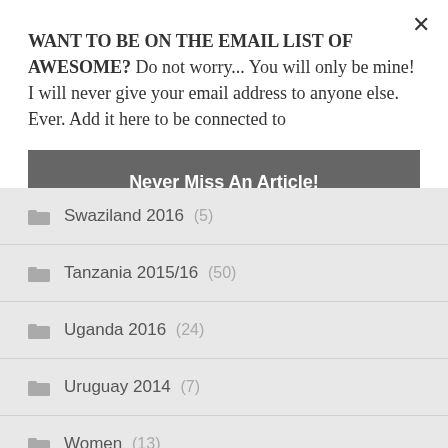WANT TO BE ON THE EMAIL LIST OF AWESOME? Do not worry... You will only be mine! I will never give your email address to anyone else. Ever. Add it here to be connected to
Never Miss An Article!
Swaziland 2016 (5)
Tanzania 2015/16 (50)
Uganda 2016 (24)
Uruguay 2014 (7)
Women (13)
Writing (63)